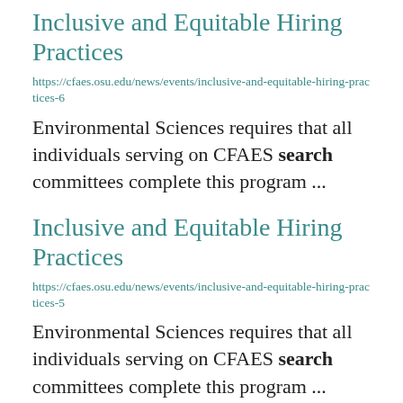Inclusive and Equitable Hiring Practices
https://cfaes.osu.edu/news/events/inclusive-and-equitable-hiring-practices-6
Environmental Sciences requires that all individuals serving on CFAES search committees complete this program ...
Inclusive and Equitable Hiring Practices
https://cfaes.osu.edu/news/events/inclusive-and-equitable-hiring-practices-5
Environmental Sciences requires that all individuals serving on CFAES search committees complete this program ...